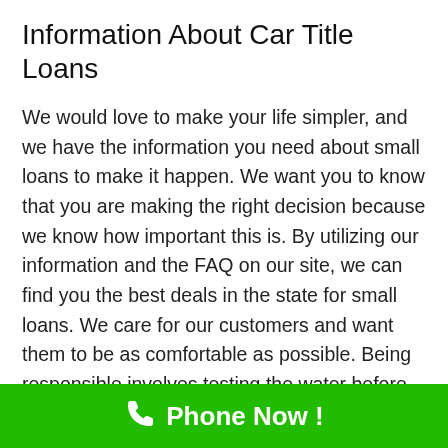Information About Car Title Loans
We would love to make your life simpler, and we have the information you need about small loans to make it happen. We want you to know that you are making the right decision because we know how important this is. By utilizing our information and the FAQ on our site, we can find you the best deals in the state for small loans. We care for our customers and want them to be as comfortable as possible. Being responsible involves testing the water before diving in head first, so we are here to make sure you don't sink when it comes to making
Phone Now !